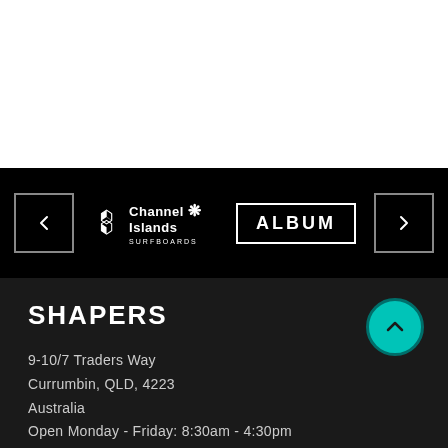[Figure (screenshot): White blank upper section of a webpage]
[Figure (logo): Navigation bar on black background with left arrow button, Channel Islands Surfboards logo, Album logo in white box, and right arrow button]
SHAPERS
9-10/7 Traders Way
Currumbin, QLD, 4223
Australia
Open Monday - Friday: 8:30am - 4:30pm